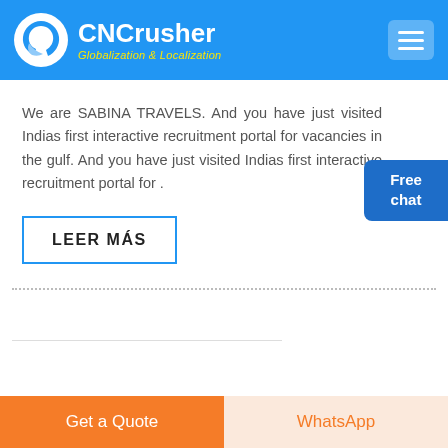CNCrusher Globalization & Localization
We are SABINA TRAVELS. And you have just visited Indias first interactive recruitment portal for vacancies in the gulf. And you have just visited Indias first interactive recruitment portal for .
Free chat
LEER MÁS
Get a Quote
WhatsApp